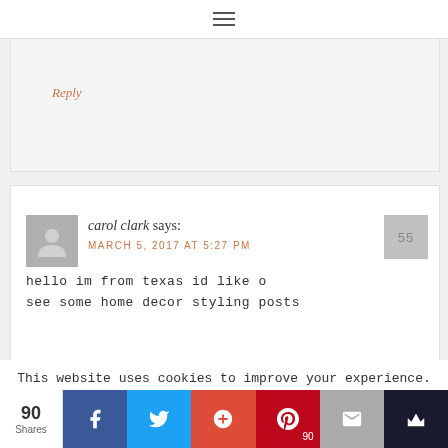[Figure (other): Hamburger menu icon (three horizontal lines)]
Reply
[Figure (other): User avatar placeholder (gray silhouette)]
carol clark says:
MARCH 5, 2017 AT 5:27 PM
hello im from texas id like o see some home decor styling posts
55
This website uses cookies to improve your experience. We'll assume you're ok with this, but you can opt-out if you wish.
Accept
90
Shares